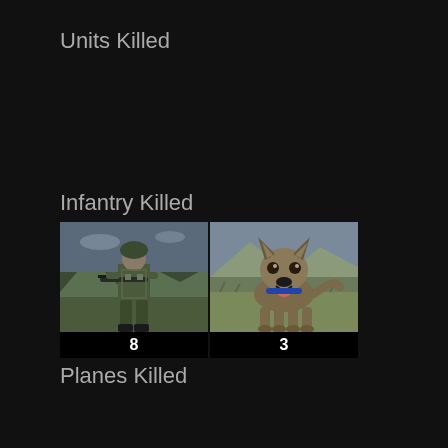Units Killed
Infantry Killed
[Figure (illustration): Two unit cards side by side: a soldier with rifle (count: 8) and a military dog (count: 3)]
Planes Killed
Ships Killed
Buildings Killed